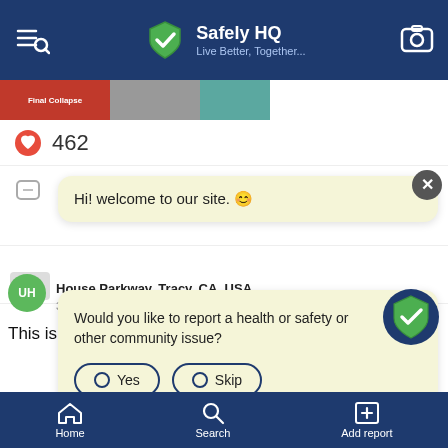Safely HQ — Live Better, Together...
[Figure (screenshot): Mobile app screenshot showing Safely HQ social community app interface with a welcome chat bubble saying 'Hi! welcome to our site.' and a prompt asking 'Would you like to report a health or safety or other community issue?' with Yes and Skip buttons]
462
Hi! welcome to our site. 😊
Would you like to report a health or safety or other community issue?
Yes
Skip
House Parkway, Tracy, CA, USA
3 weeks ago
This is completely unsafe. How the hell would they
Home   Search   Add report